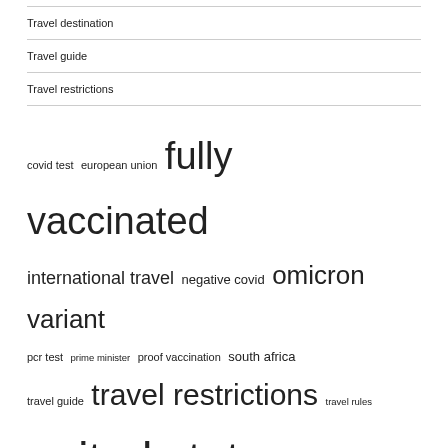Travel destination
Travel guide
Travel restrictions
[Figure (infographic): Tag cloud with travel-related keywords in varying font sizes: covid test, european union, fully vaccinated (largest), international travel, negative covid, omicron variant, pcr test, prime minister, proof vaccination, south africa, travel guide, travel restrictions (large), travel rules, united states (very large), vaccinated travelers]
RECENT POSTS
Brits will be charged to enter some EU countries